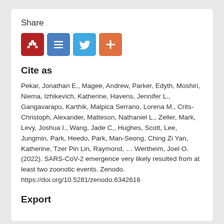Share
[Figure (other): Social share buttons: Mendeley (red), menu/list (blue), Twitter (light blue), add/plus (orange)]
Cite as
Pekar, Jonathan E., Magee, Andrew, Parker, Edyth, Moshiri, Niema, Izhikevich, Katherine, Havens, Jennifer L., Gangavarapu, Karthik, Malpica Serrano, Lorena M., Crits-Christoph, Alexander, Matteson, Nathaniel L., Zeller, Mark, Levy, Joshua I., Wang, Jade C., Hughes, Scott, Lee, Jungmin, Park, Heedo, Park, Man-Seong, Ching Zi Yan, Katherine, Tzer Pin Lin, Raymond, … Wertheim, Joel O. (2022). SARS-CoV-2 emergence very likely resulted from at least two zoonotic events. Zenodo. https://doi.org/10.5281/zenodo.6342616
Start typing a citation style...
Export